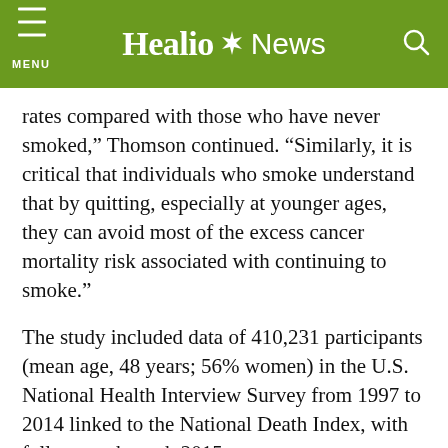Healio News
rates compared with those who have never smoked,” Thomson continued. “Similarly, it is critical that individuals who smoke understand that by quitting, especially at younger ages, they can avoid most of the excess cancer mortality risk associated with continuing to smoke.”
The study included data of 410,231 participants (mean age, 48 years; 56% women) in the U.S. National Health Interview Survey from 1997 to 2014 linked to the National Death Index, with follow-up through 2015.
Thomson and colleagues categorized self-reported daily smokers by age at initiation (aged younger